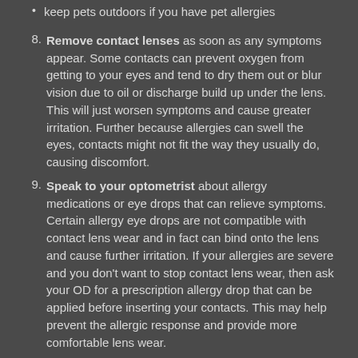keep pets outdoors if you have pet allergies
Remove contact lenses as soon as any symptoms appear. Some contacts can prevent oxygen from getting to your eyes and tend to dry them out or blur vision due to oil or discharge build up under the lens. This will just worsen symptoms and cause greater irritation. Further because allergies can swell the eyes, contacts might not fit the way they usually do, causing discomfort.
Speak to your optometrist about allergy medications or eye drops that can relieve symptoms. Certain allergy eye drops are not compatible with contact lens wear and in fact can bind onto the lens and cause further irritation. If your allergies are severe and you don't want to stop contact lens wear, then ask your OD for a prescription allergy drop that can be applied before inserting your contacts. This may help prevent the allergic response and provide more comfortable lens wear.
These are only a few steps you can take to make your eyes more comfortable during allergy season. Remember to seek medical help from your eye care professional if symptoms persist or